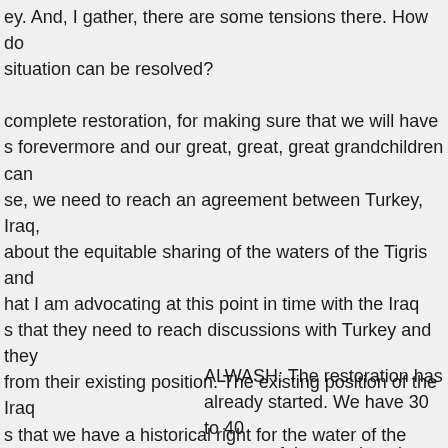ey. And, I gather, there are some tensions there. How do situation can be resolved? complete restoration, for making sure that we will have s forevermore and our great, great, great grandchildren can se, we need to reach an agreement between Turkey, Iraq, about the equitable sharing of the waters of the Tigris and hat I am advocating at this point in time with the Iraq s that they need to reach discussions with Turkey and they from their existing position. The existing position of the Iraq s that we have a historical right for the water of the Tigris and cause we were the first developers of the water resources of wever, if we insist on this position we are going to end up ns for 50 years without reaching a solution.
ALWASH: The restoration has already started. We have 30 to 40 percent of the marshes that existed in 1990 alive and well today so it's a